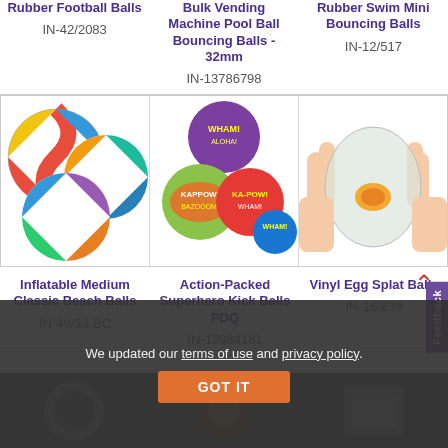Rubber Football Balls
Bulk Vending Machine Pool Ball Bouncing Balls - 32mm
Rubber Swim Mini Bouncing Balls
IN-42/2083
IN-13786798
IN-12/517
[Figure (photo): Inflatable medium classic beach balls - colorful juggling/beach balls in multiple colors]
[Figure (photo): Action-Packed Superhero Kick Balls PDQ - cube-shaped fabric balls with comic action words]
[Figure (photo): Vinyl Egg Splat Balls - hands squeezing a translucent egg-shaped ball]
Inflatable Medium Classic Beach Balls
Action-Packed Superhero Kick Balls PDQ
Vinyl Egg Splat Balls
IN-49/33-BC
IN-13984181
IN-16/639
We updated our terms of use and privacy policy.
GOT IT